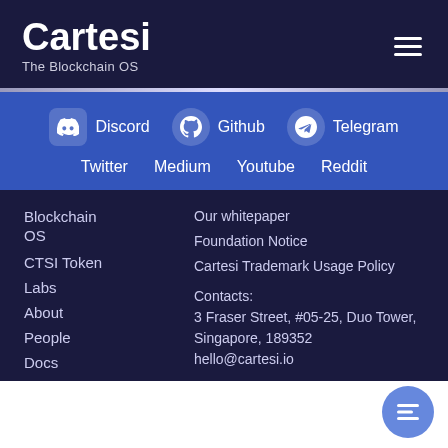Cartesi — The Blockchain OS
Discord  Github  Telegram  Twitter  Medium  Youtube  Reddit
Blockchain OS
CTSI Token
Labs
About
People
Docs
Our whitepaper
Foundation Notice
Cartesi Trademark Usage Policy
Contacts:
3 Fraser Street, #05-25, Duo Tower, Singapore, 189352
hello@cartesi.io